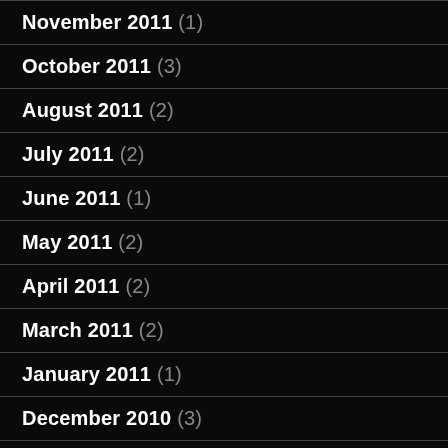November 2011 (1)
October 2011 (3)
August 2011 (2)
July 2011 (2)
June 2011 (1)
May 2011 (2)
April 2011 (2)
March 2011 (2)
January 2011 (1)
December 2010 (3)
November 2010 (2)
October 2010 (5)
September 2010 (2)